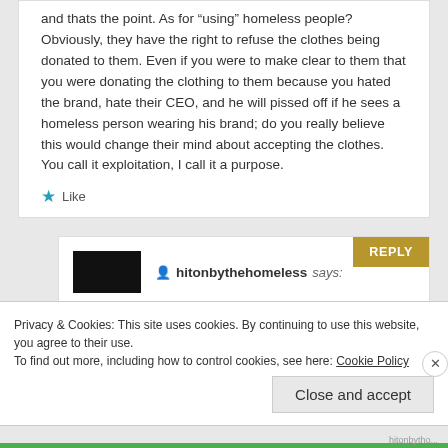and thats the point. As for “using” homeless people? Obviously, they have the right to refuse the clothes being donated to them. Even if you were to make clear to them that you were donating the clothing to them because you hated the brand, hate their CEO, and he will pissed off if he sees a homeless person wearing his brand; do you really believe this would change their mind about accepting the clothes. You call it exploitation, I call it a purpose.
★ Like
REPLY
hitonbythehomeless says:
Privacy & Cookies: This site uses cookies. By continuing to use this website, you agree to their use.
To find out more, including how to control cookies, see here: Cookie Policy
Close and accept